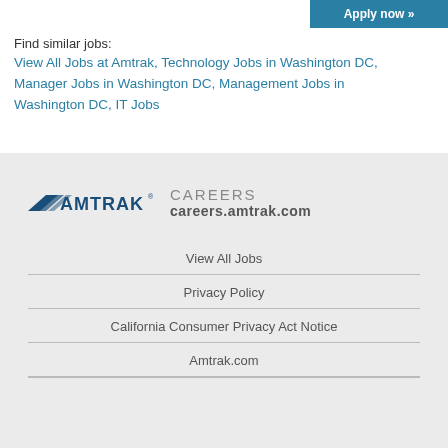Apply now »
Find similar jobs:
View All Jobs at Amtrak, Technology Jobs in Washington DC, Manager Jobs in Washington DC, Management Jobs in Washington DC, IT Jobs
[Figure (logo): Amtrak Careers logo with text 'CAREERS careers.amtrak.com']
View All Jobs
Privacy Policy
California Consumer Privacy Act Notice
Amtrak.com